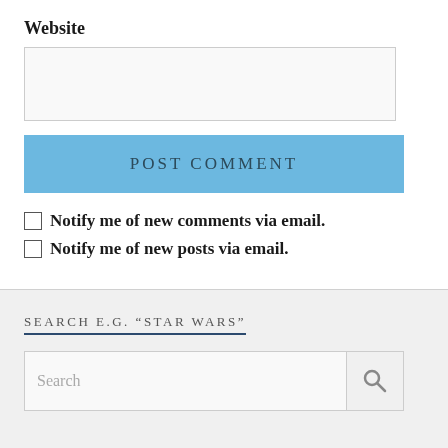Website
[Figure (other): Website text input box (form field, empty)]
[Figure (other): POST COMMENT button (blue background, uppercase text)]
Notify me of new comments via email.
Notify me of new posts via email.
SEARCH E.G. “STAR WARS”
[Figure (other): Search input box with placeholder text 'Search' and a search icon on the right]